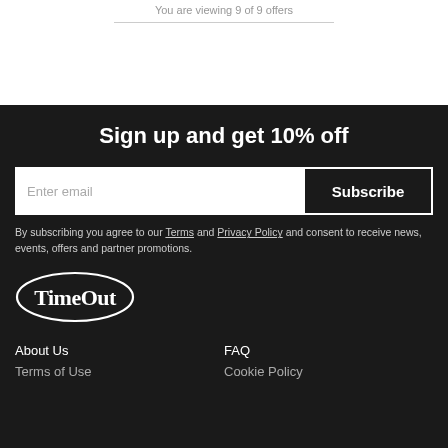You are viewing 9 of 9 offers
Sign up and get 10% off
Enter email
Subscribe
By subscribing you agree to our Terms and Privacy Policy and consent to receive news, events, offers and partner promotions.
[Figure (logo): Time Out logo in white outline oval/circle style]
About Us
FAQ
Terms of Use
Cookie Policy